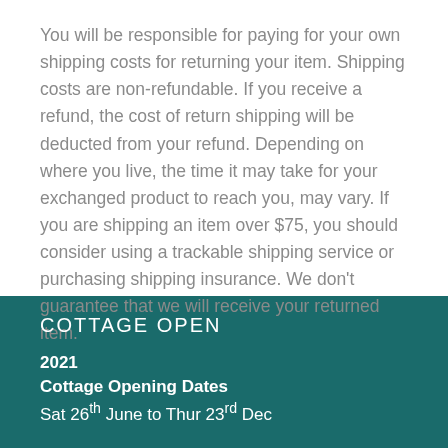You will be responsible for paying for your own shipping costs for returning your item. Shipping costs are non-refundable. If you receive a refund, the cost of return shipping will be deducted from your refund. Depending on where you live, the time it may take for your exchanged product to reach you, may vary. If you are shipping an item over $75, you should consider using a trackable shipping service or purchasing shipping insurance. We don't guarantee that we will receive your returned item.
COTTAGE OPEN
2021
Cottage Opening Dates
Sat 26th June to Thur 23rd Dec